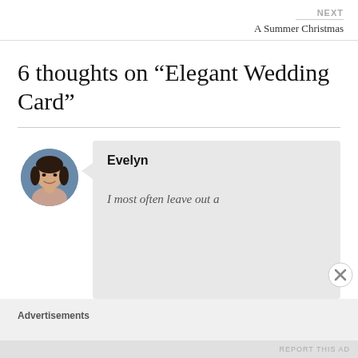NEXT
A Summer Christmas
6 thoughts on “Elegant Wedding Card”
[Figure (photo): Circular avatar photo of a woman named Evelyn with dark hair, smiling]
Evelyn
I most often leave out a
Advertisements
REPORT THIS AD